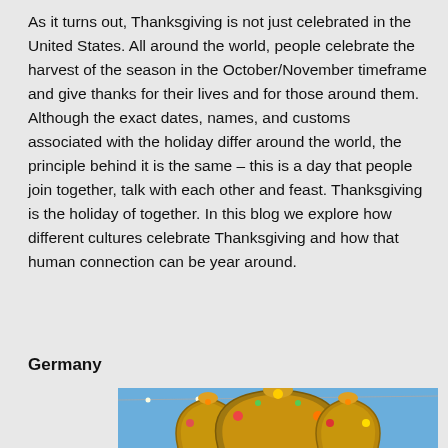As it turns out, Thanksgiving is not just celebrated in the United States. All around the world, people celebrate the harvest of the season in the October/November timeframe and give thanks for their lives and for those around them. Although the exact dates, names, and customs associated with the holiday differ around the world, the principle behind it is the same – this is a day that people join together, talk with each other and feast. Thanksgiving is the holiday of together. In this blog we explore how different cultures celebrate Thanksgiving and how that human connection can be year around.
Germany
[Figure (photo): Photo of decorative harvest arches made of woven wheat/straw with floral decorations, against a blue sky, with string lights visible]